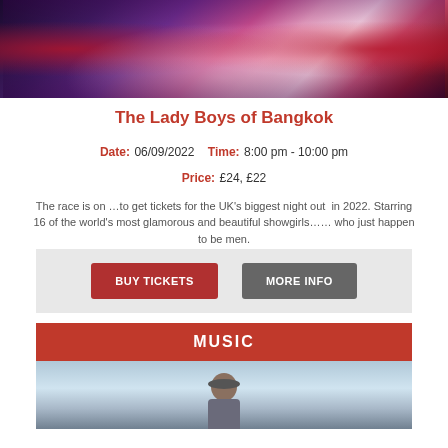[Figure (photo): Stage performance photo showing dancers in elaborate feathered costumes with pink and purple lighting, red curtains on sides]
The Lady Boys of Bangkok
Date: 06/09/2022 Time: 8:00 pm - 10:00 pm Price: £24, £22
The race is on …to get tickets for the UK's biggest night out in 2022. Starring 16 of the world's most glamorous and beautiful showgirls…… who just happen to be men.
[Figure (other): BUY TICKETS and MORE INFO buttons on grey background]
MUSIC
[Figure (photo): Person wearing a cap against a cloudy sky background]